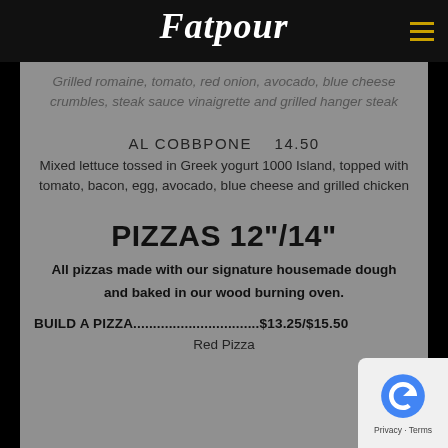THE FATPOUR
Grilled romaine, tomato, red onion, avocado, blue cheese crumbles, steak sauce vinaigrette and grilled hanger steak
AL COBBPONE   14.50
Mixed lettuce tossed in Greek yogurt 1000 Island, topped with tomato, bacon, egg, avocado, blue cheese and grilled chicken
PIZZAS 12"/14"
All pizzas made with our signature housemade dough and baked in our wood burning oven.
BUILD A PIZZA................................$13.25/$15.50
Red Pizza